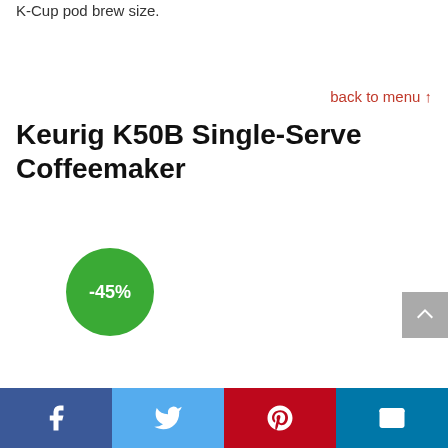K-Cup pod brew size.
back to menu ↑
Keurig K50B Single-Serve Coffeemaker
[Figure (other): Green circular badge showing -45% discount]
[Figure (other): Gray scroll-to-top button with upward chevron arrow]
[Figure (other): Social sharing bar with Facebook, Twitter, Pinterest, and Email icons]